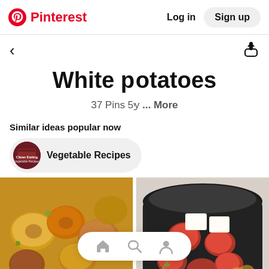Pinterest  Log in  Sign up
< (back arrow)  (share icon)
White potatoes
37 Pins 5y ... More
Similar ideas popular now
Vegetable Recipes
[Figure (photo): Roasted red potatoes with herbs on a baking sheet]
[Figure (photo): Red potatoes and butter pats in a slow cooker with herbs]